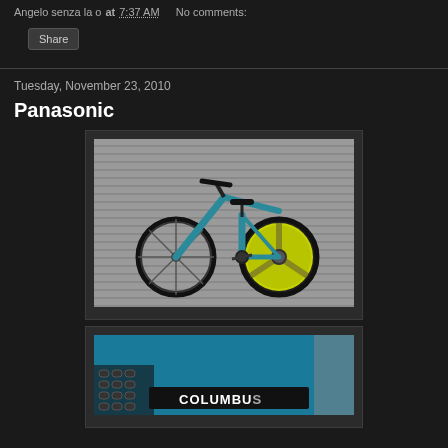Angelo senza la o at 7:37 AM   No comments:
Share
Tuesday, November 23, 2010
Panasonic
[Figure (photo): A teal/cyan fixed-gear bicycle with a bright yellow-green rear track wheel, leaning against a corrugated metal shutter background]
[Figure (photo): Close-up of a teal bicycle frame tube with a Columbus tubing decal visible, chain also visible]